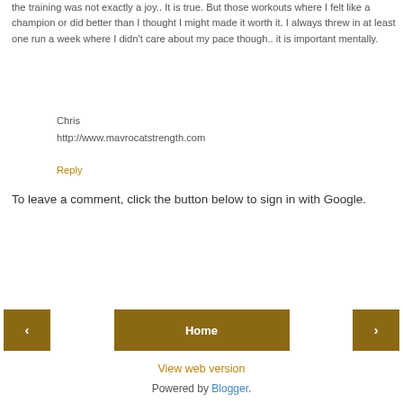the training was not exactly a joy.. It is true. But those workouts where I felt like a champion or did better than I thought I might made it worth it. I always threw in at least one run a week where I didn't care about my pace though.. it is important mentally.
Chris
http://www.mavrocatstrength.com
Reply
To leave a comment, click the button below to sign in with Google.
[Figure (other): SIGN IN WITH GOOGLE button (blue)]
[Figure (other): Navigation row with left arrow button, Home button, and right arrow button (dark gold/brown color)]
View web version
Powered by Blogger.